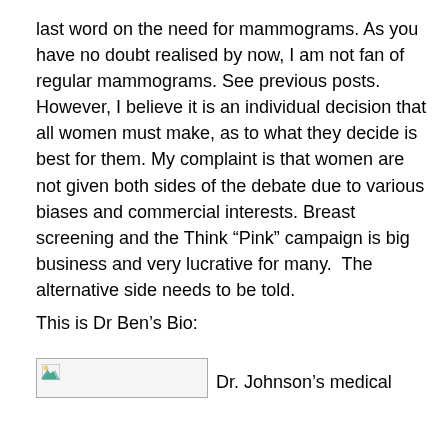last word on the need for mammograms. As you have no doubt realised by now, I am not fan of regular mammograms. See previous posts. However, I believe it is an individual decision that all women must make, as to what they decide is best for them. My complaint is that women are not given both sides of the debate due to various biases and commercial interests. Breast screening and the Think “Pink” campaign is big business and very lucrative for many.  The alternative side needs to be told.
This is Dr Ben’s Bio:
[Figure (photo): Broken image placeholder (image failed to load)]
Dr. Johnson’s medical